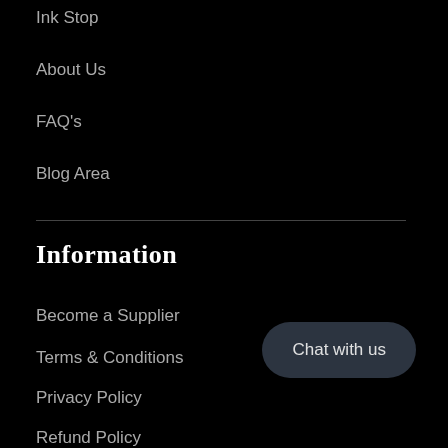Ink Stop
About Us
FAQ's
Blog Area
Information
Become a Supplier
Terms & Conditions
Privacy Policy
Refund Policy
Contact Us
Chat with us